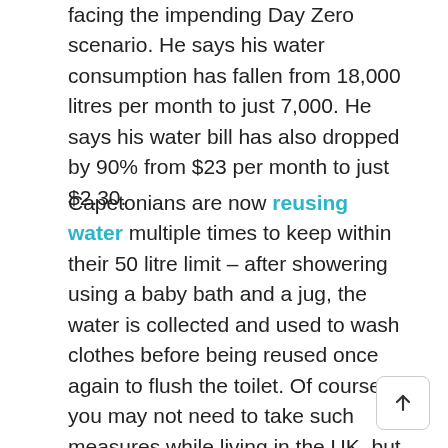facing the impending Day Zero scenario. He says his water consumption has fallen from 18,000 litres per month to just 7,000. He says his water bill has also dropped by 90% from $23 per month to just $2.30.
Capetonians are now reusing water multiple times to keep within their 50 litre limit – after showering using a baby bath and a jug, the water is collected and used to wash clothes before being reused once again to flush the toilet. Of course, you may not need to take such measures while living in the UK, but reusing water is certainly something to consider. Using bath water to fill the toilet cistern, or using water from washing dishes to water your plants are just